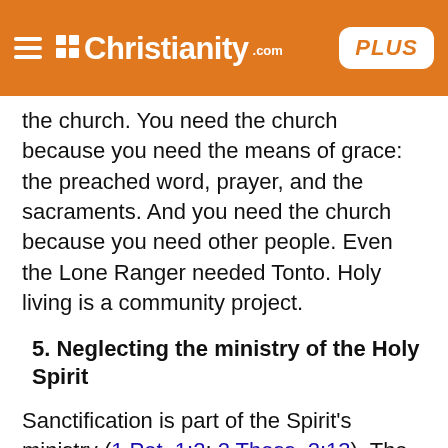Christianity.com PLUS
the church. You need the church because you need the means of grace: the preached word, prayer, and the sacraments. And you need the church because you need other people. Even the Lone Ranger needed Tonto. Holy living is a community project.
5. Neglecting the ministry of the Holy Spirit
Sanctification is part of the Spirit's ministry (1 Pet. 1:2; 2 Thess. 2:13). The Spirit is the